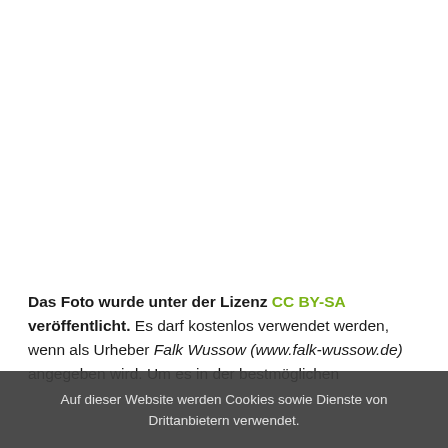Das Foto wurde unter der Lizenz CC BY-SA veröffentlicht. Es darf kostenlos verwendet werden, wenn als Urheber Falk Wussow (www.falk-wussow.de) angegeben wird. Um es in der bestmöglichen
Auf dieser Website werden Cookies sowie Dienste von Drittanbietern verwendet.